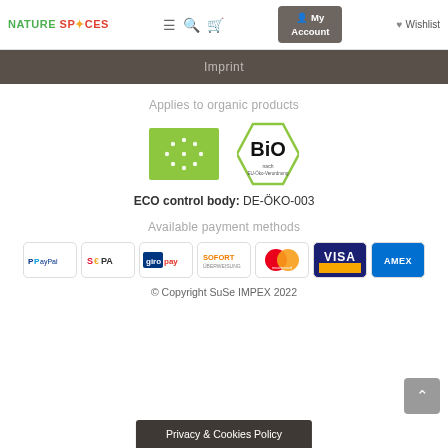NATURE SPICES | Menu | Search | Cart | My Account | Wishlist
Imprint
Applies to organic products
[Figure (logo): EU organic certification logo (green rectangle with white stars in leaf shape) and BIO hexagon logo]
ECO control body: DE-ÖKO-003
Available payment methods
[Figure (logo): Payment method logos: PayPal, SEPA, giropay, SOFORT, Mastercard, VISA, AMEX]
© Copyright SuSe IMPEX 2022
Privacy & Cookies Policy